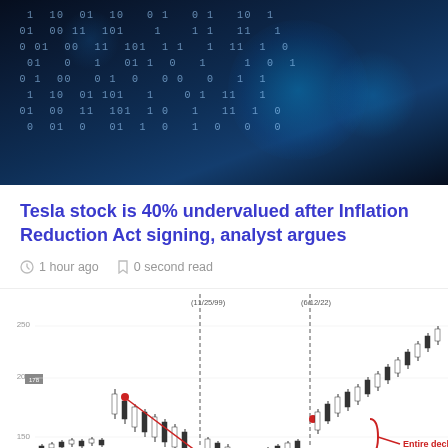[Figure (photo): Dark blue background with binary code (0s and 1s) overlay and glowing circular elements, technology/data themed header image]
Tesla stock is 40% undervalued after Inflation Reduction Act signing, analyst argues
1 hour ago   0 second read
[Figure (continuous-plot): Stock candlestick chart showing Tesla stock price with two vertical dashed lines marking dates (11/25/99) and (6/12/92), annotation showing 'Entire decline erased 4 months' with red bracket, price levels at 200 and 100 visible on y-axis]